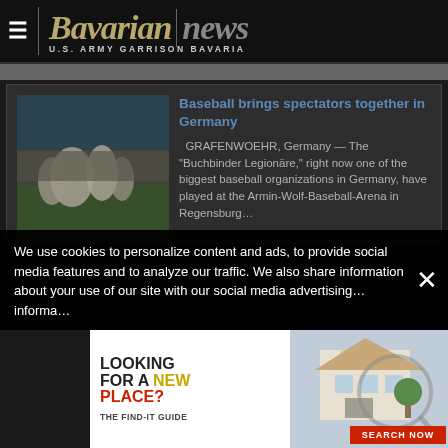Bavarian news — U.S. ARMY GARRISON BAVARIA
[Figure (photo): Baseball players in white uniforms running on a field]
Baseball brings spectators together in Germany
GRAFENWOEHR, Germany — The "Buchbinder Legionäre," right now one of the biggest baseball organizations in Germany, have played at the Armin-Wolf-Baseball-Arena in Regensburg…
We use cookies to personalize content and ads, to provide social media features and to analyze our traffic. We also share information about your use of our site with our social media advertising… information…
[Figure (infographic): Advertisement: LOOKING FOR A NEW PLACE? THE FIND-IT GUIDE — SEARCH NOW, showing a house image with magnifying glass]